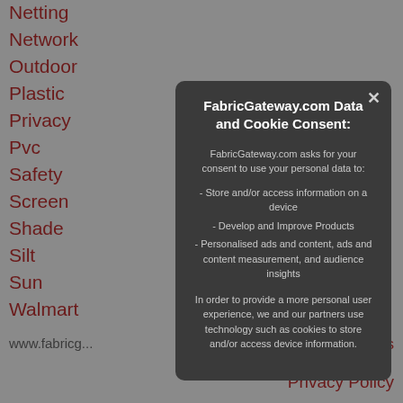Netting
Network
Outdoor
Plastic
Privacy
Pvc
Safety
Screen
Shade
Silt
Sun
Walmart
Windscreen
Wire
FabricGateway.com Data and Cookie Consent:
FabricGateway.com asks for your consent to use your personal data to:
- Store and/or access information on a device
- Develop and Improve Products
- Personalised ads and content, ads and content measurement, and audience insights
In order to provide a more personal user experience, we and our partners use technology such as cookies to store and/or access device information.
www.fabricg... | Contact Us | Privacy Policy